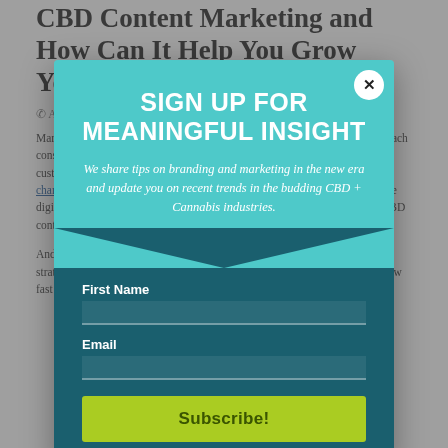CBD Content Marketing and How Can It Help You Grow Your Business
Marketing strategies are constantly changing because it's become harder to reach consumers with traditional marketing strategies like cold calls to prospective customers or direct mail. Not only has this changed because consumers have changed, banner ads for your own advertisements that have now infiltrated the digital space as well, they've become less trusting and more skeptical. And CBD content marketing is not new, but it has dramatically risen...
[Figure (screenshot): Email newsletter signup modal overlay with teal background. Title: SIGN UP FOR MEANINGFUL INSIGHT. Subtitle: We share tips on branding and marketing in the new era and update you on recent trends in the budding CBD + Cannabis industries. Form fields: First Name, Email. Green Subscribe button.]
And businesses and marketers have changed their approach and marketing strategies don't work as well as they used to. More than 90% of consumers now fast forward